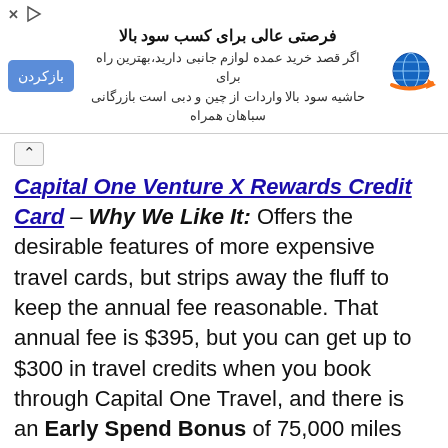[Figure (other): Advertisement banner in Persian/Farsi with a blue close button labeled 'بازکردن', Persian text title 'فرصتی عالی برای کسب سود بالا', body text in Persian, and a globe/laptop logo icon on the right.]
Capital One Venture X Rewards Credit Card – Why We Like It: Offers the desirable features of more expensive travel cards, but strips away the fluff to keep the annual fee reasonable. That annual fee is $395, but you can get up to $300 in travel credits when you book through Capital One Travel, and there is an Early Spend Bonus of 75,000 miles once you spend $4,000 on purchases within the first 3 months from account opening. The Anniversary Miles Bonus kicks in starting on your first anniversary, with